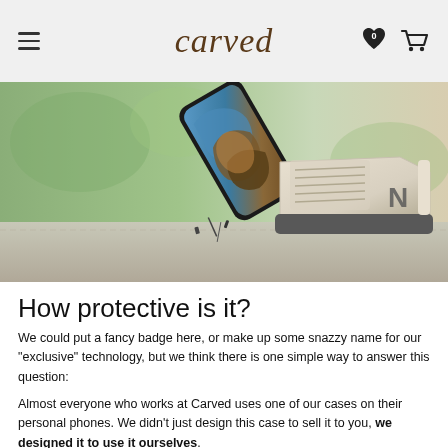carved
[Figure (photo): A phone case with artistic design being kicked or dropped mid-air near a sneaker on pavement, showing the phone's protective case in action]
How protective is it?
We could put a fancy badge here, or make up some snazzy name for our "exclusive" technology, but we think there is one simple way to answer this question:
Almost everyone who works at Carved uses one of our cases on their personal phones. We didn't just design this case to sell it to you, we designed it to use it ourselves.